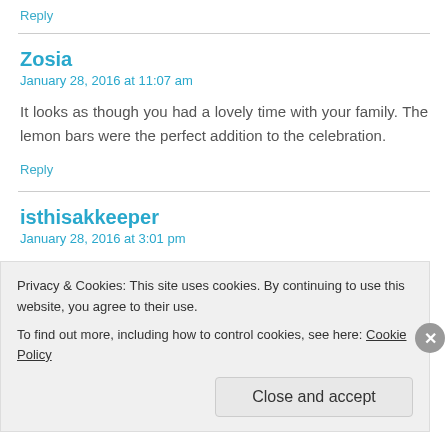Reply
Zosia
January 28, 2016 at 11:07 am
It looks as though you had a lovely time with your family. The lemon bars were the perfect addition to the celebration.
Reply
isthisakkeeper
January 28, 2016 at 3:01 pm
Happy Australia Day! I am sure your lemon squares were the
Privacy & Cookies: This site uses cookies. By continuing to use this website, you agree to their use.
To find out more, including how to control cookies, see here: Cookie Policy
Close and accept